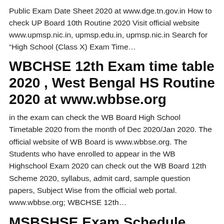Public Exam Date Sheet 2020 at www.dge.tn.gov.in How to check UP Board 10th Routine 2020 Visit official website www.upmsp.nic.in, upmsp.edu.in, upmsp.nic.in Search for “High School (Class X) Exam Time…
WBCHSE 12th Exam time table 2020 , West Bengal HS Routine 2020 at www.wbbse.org
in the exam can check the WB Board High School Timetable 2020 from the month of Dec 2020/Jan 2020. The official website of WB Board is www.wbbse.org. The Students who have enrolled to appear in the WB Highschool Exam 2020 can check out the WB Board 12th Scheme 2020, syllabus, admit card, sample question papers, Subject Wise from the official web portal. www.wbbse.org; WBCHSE 12th…
MSBSHSE Exam Schedule,